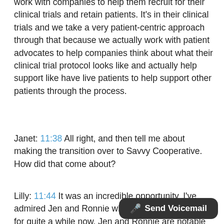work with companies to help them recruit for their clinical trials and retain patients. It's in their clinical trials and we take a very patient-centric approach through that because we actually work with patient advocates to help companies think about what their clinical trial protocol looks like and actually help support like have live patients to help support other patients through the process.
Janet: 11:38 All right, and then tell me about making the transition over to Savvy Cooperative. How did that come about?
Lilly: 11:44 It was an incredible opportunity. I've admired Jen and Ronnie who are the co-founders for quite a while now. Jen and Ronnie are notable patient advocates in the space. Ronnie is